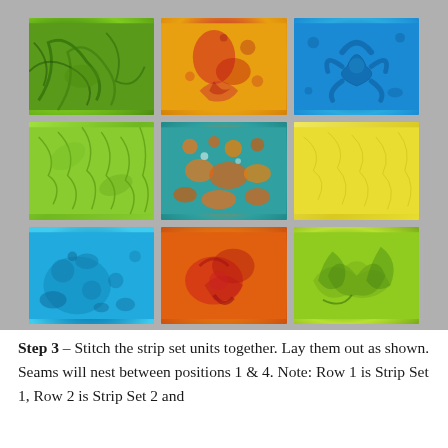[Figure (photo): Three rows of three fabric swatches each, displayed on a gray background. Row 1: green swirled batik, orange/yellow floral batik, blue floral batik. Row 2: light green leaf/stripe batik, teal and orange abstract batik, yellow batik. Row 3: blue abstract batik, orange/red floral batik, yellow-green swirled batik.]
Step 3 – Stitch the strip set units together. Lay them out as shown. Seams will nest between positions 1 & 4. Note: Row 1 is Strip Set 1, Row 2 is Strip Set 2 and